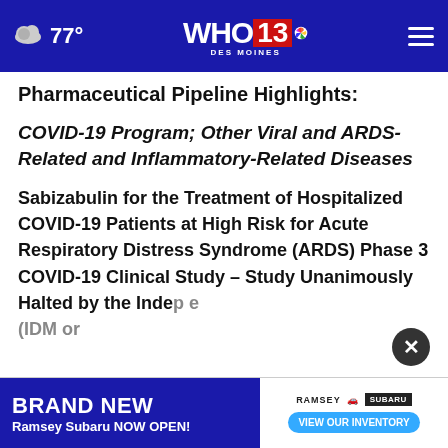77° WHO 13 DES MOINES
Pharmaceutical Pipeline Highlights:
COVID-19 Program; Other Viral and ARDS-Related and Inflammatory-Related Diseases
Sabizabulin for the Treatment of Hospitalized COVID-19 Patients at High Risk for Acute Respiratory Distress Syndrome (ARDS) Phase 3 COVID-19 Clinical Study – Study Unanimously Halted by the Indep... (IDMC)... or
[Figure (screenshot): Advertisement overlay: BRAND NEW Ramsey Subaru NOW OPEN! with VIEW OUR INVENTORY button]